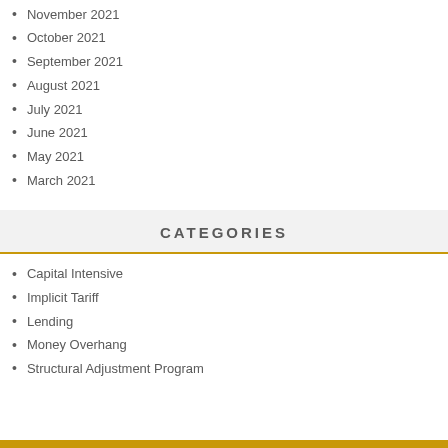November 2021
October 2021
September 2021
August 2021
July 2021
June 2021
May 2021
March 2021
CATEGORIES
Capital Intensive
Implicit Tariff
Lending
Money Overhang
Structural Adjustment Program